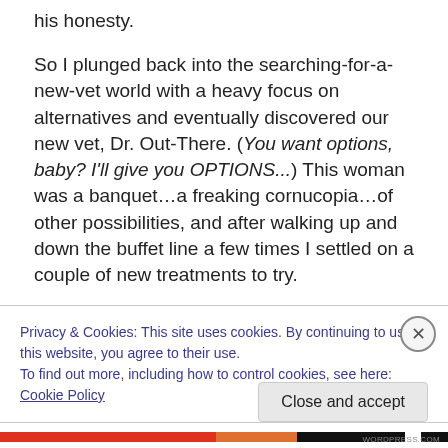his honesty.
So I plunged back into the searching-for-a-new-vet world with a heavy focus on alternatives and eventually discovered our new vet, Dr. Out-There.  (You want options, baby?  I'll give you OPTIONS...)  This woman was a banquet…a freaking cornucopia…of other possibilities, and after walking up and down the buffet line a few times I settled on a couple of new treatments to try.
You know what she suggested for his epilepsy?  A homeopathic remedy.  A small blue bottle of some kind of
Privacy & Cookies: This site uses cookies. By continuing to use this website, you agree to their use.
To find out more, including how to control cookies, see here: Cookie Policy